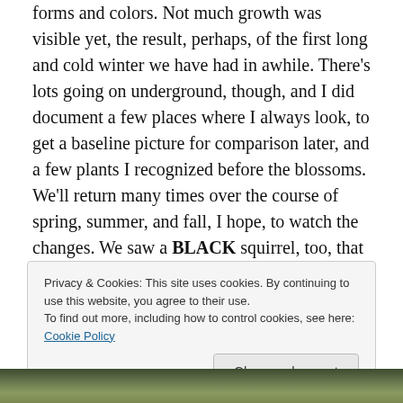forms and colors. Not much growth was visible yet, the result, perhaps, of the first long and cold winter we have had in awhile. There's lots going on underground, though, and I did document a few places where I always look, to get a baseline picture for comparison later, and a few plants I recognized before the blossoms. We'll return many times over the course of spring, summer, and fall, I hope, to watch the changes. We saw a BLACK squirrel, too, that was a first.
Privacy & Cookies: This site uses cookies. By continuing to use this website, you agree to their use.
To find out more, including how to control cookies, see here: Cookie Policy
[Figure (photo): Partial view of an outdoor landscape photo at the bottom of the page]